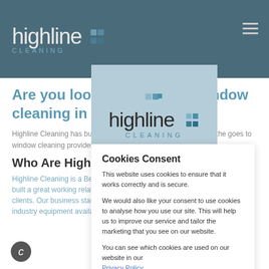[Figure (screenshot): Background of a website for Highline Cleaning showing the header with logo, navigation hamburger menu, and page content about window cleaning in Ascot, partially obscured by a cookie consent modal.]
[Figure (logo): Highline Cleaning logo centered in a blue-grey panel at the top of the cookie consent modal. Shows 'highline' in large grey text with a small icon and 'CLEANING' in teal lettersspaced text below.]
Cookies Consent
This website uses cookies to ensure that it works correctly and is secure.
We would also like your consent to use cookies to analyse how you use our site. This will help us to improve our service and tailor the marketing that you see on our website.
You can see which cookies are used on our website in our Privacy Policy
Select 'Accept All' to agree or 'Manage Consent' to choose which cookies we use.
Manage Consent
Accept All